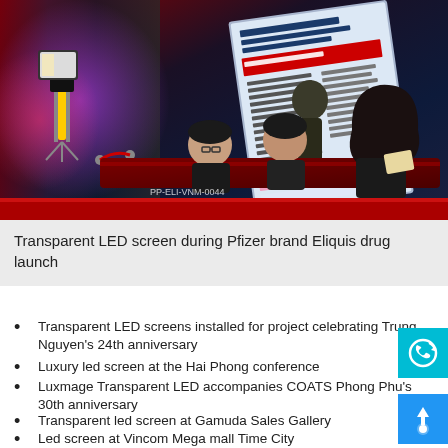[Figure (photo): Photo of a transparent LED screen display at a Pfizer brand Eliquis drug launch event, with people seated at a dark red registration desk in the foreground and a large illuminated panel in the background.]
Transparent LED screen during Pfizer brand Eliquis drug launch
Transparent LED screens installed for project celebrating Trung Nguyen's 24th anniversary
Luxury led screen at the Hai Phong conference
Luxmage Transparent LED accompanies COATS Phong Phu's 30th anniversary
Transparent led screen at Gamuda Sales Gallery
Led screen at Vincom Mega mall Time City